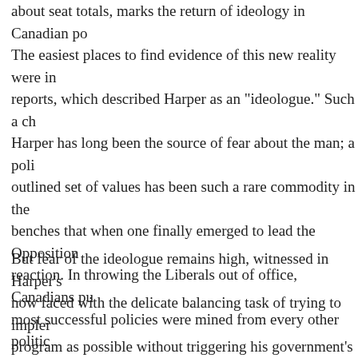about seat totals, marks the return of ideology in Canadian po
The easiest places to find evidence of this new reality were in reports, which described Harper as an "ideologue." Such a ch Harper has long been the source of fear about the man; a poli outlined set of values has been such a rare commodity in the benches that when one finally emerged to lead the Opposition reaction. In throwing the Liberals out of office, Canadians pu most successful policies were mined from every other politic continent but their own.
But fear of the ideologue remains high, witnessed in Harper's now faced with the delicate balancing task of trying to impler program as possible without triggering his government's defe triggering it at a precipitous time. It might be said that the Li in power as long as they did by convincing Canadians they w and responsible federal option. If the Conservatives want to